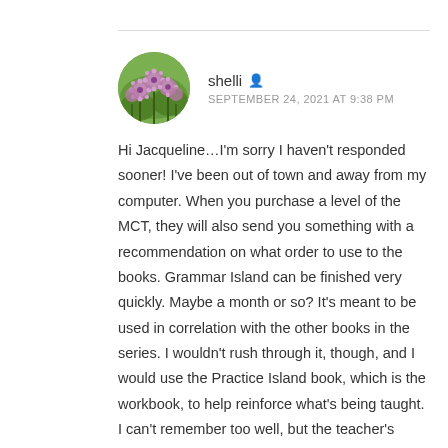shelli  SEPTEMBER 24, 2021 AT 9:38 PM
Hi Jacqueline…I'm sorry I haven't responded sooner! I've been out of town and away from my computer. When you purchase a level of the MCT, they will also send you something with a recommendation on what order to use to the books. Grammar Island can be finished very quickly. Maybe a month or so? It's meant to be used in correlation with the other books in the series. I wouldn't rush through it, though, and I would use the Practice Island book, which is the workbook, to help reinforce what's being taught. I can't remember too well, but the teacher's manual may